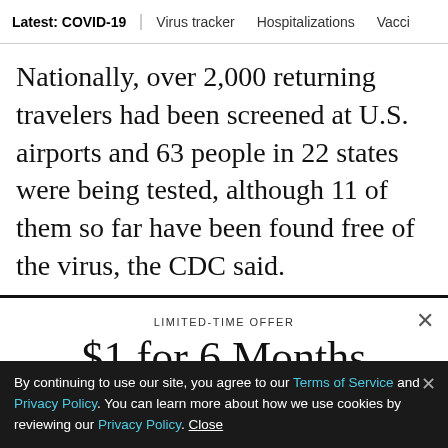Latest: COVID-19 | Virus tracker | Hospitalizations | Vacci
Nationally, over 2,000 returning travelers had been screened at U.S. airports and 63 people in 22 states were being tested, although 11 of them so far have been found free of the virus, the CDC said.
LIMITED-TIME OFFER
$1 for 6 Months
SUBSCRIBE NOW
By continuing to use our site, you agree to our Terms of Service and Privacy Policy. You can learn more about how we use cookies by reviewing our Privacy Policy. Close